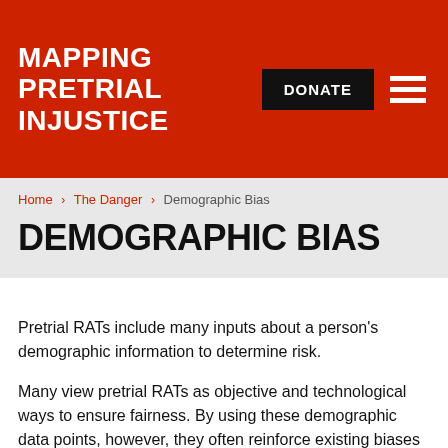MAPPING PRETRIAL INJUSTICE
Home › The Danger › Demographic Bias
DEMOGRAPHIC BIAS
Pretrial RATs include many inputs about a person's demographic information to determine risk.
Many view pretrial RATs as objective and technological ways to ensure fairness. By using these demographic data points, however, they often reinforce existing biases and assumptions baked into the criminal legal system.
Common demographic variables include substance use